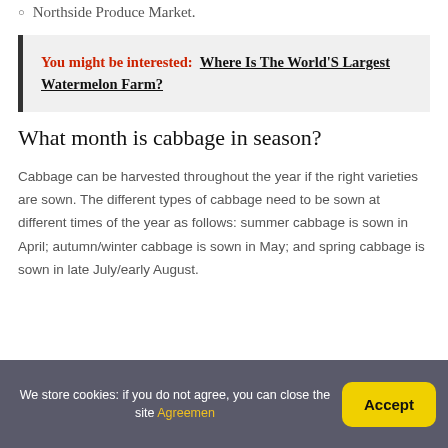Northside Produce Market.
You might be interested: Where Is The World'S Largest Watermelon Farm?
What month is cabbage in season?
Cabbage can be harvested throughout the year if the right varieties are sown. The different types of cabbage need to be sown at different times of the year as follows: summer cabbage is sown in April; autumn/winter cabbage is sown in May; and spring cabbage is sown in late July/early August.
We store cookies: if you do not agree, you can close the site Agreemen